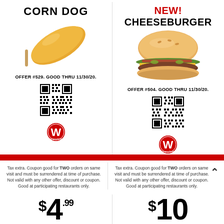CORN DOG
NEW! CHEESEBURGER
[Figure (photo): Photo of a corn dog on a stick]
[Figure (photo): Photo of a cheeseburger]
OFFER #529. GOOD THRU 11/30/20.
OFFER #504. GOOD THRU 11/30/20.
[Figure (other): QR code for corn dog offer]
[Figure (other): QR code for cheeseburger offer]
[Figure (logo): Wienerschnitzel logo (red W in circle)]
[Figure (logo): Wienerschnitzel logo (red W in circle)]
Tax extra. Coupon good for TWO orders on same visit and must be surrendered at time of purchase. Not valid with any other offer, discount or coupon. Good at participating restaurants only.
Tax extra. Coupon good for TWO orders on same visit and must be surrendered at time of purchase. Not valid with any other offer, discount or coupon. Good at participating restaurants only.
$4.99
$10
CORN DOG, CHILI DOG, &
3 CHILI DOGS, 2 CORN DOGS, &